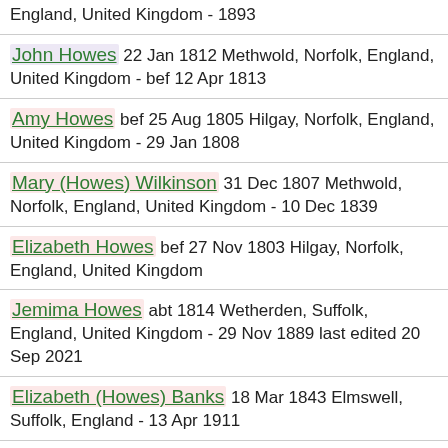England, United Kingdom - 1893
John Howes 22 Jan 1812 Methwold, Norfolk, England, United Kingdom - bef 12 Apr 1813
Amy Howes bef 25 Aug 1805 Hilgay, Norfolk, England, United Kingdom - 29 Jan 1808
Mary (Howes) Wilkinson 31 Dec 1807 Methwold, Norfolk, England, United Kingdom - 10 Dec 1839
Elizabeth Howes bef 27 Nov 1803 Hilgay, Norfolk, England, United Kingdom
Jemima Howes abt 1814 Wetherden, Suffolk, England, United Kingdom - 29 Nov 1889 last edited 20 Sep 2021
Elizabeth (Howes) Banks 18 Mar 1843 Elmswell, Suffolk, England - 13 Apr 1911
Robert Howes abt 1810 Elmswell, Suffolk,